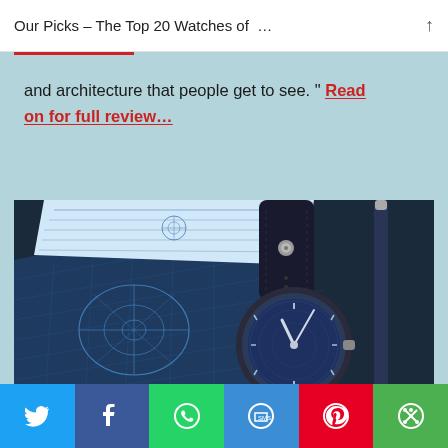Our Picks – The Top 20 Watches of …
and architecture that people get to see. " Read on for full review…
[Figure (photo): A wristwatch with a blue dial on a leather strap, resting on architectural blueprint drawings. The watch face shows white hands on a detailed blue dial. The blueprints feature technical aircraft/mechanical drawings in blue and white.]
Social share buttons: Twitter, Facebook, WhatsApp, SMS, Pinterest, More